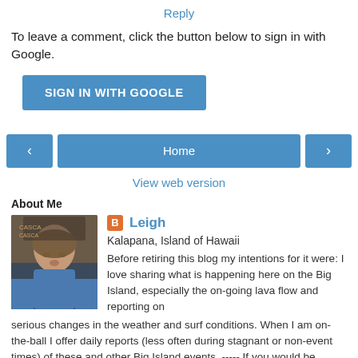Reply
To leave a comment, click the button below to sign in with Google.
[Figure (other): Blue button labeled SIGN IN WITH GOOGLE]
[Figure (other): Navigation bar with left arrow button, Home button, and right arrow button]
View web version
About Me
[Figure (photo): Profile photo of a middle-aged man with gray hair wearing a blue shirt]
Leigh
Kalapana, Island of Hawaii
Before retiring this blog my intentions for it were: I love sharing what is happening here on the Big Island, especially the on-going lava flow and reporting on serious changes in the weather and surf conditions. When I am on-the-ball I offer daily reports (less often during stagnant or non-event times) of these and other Big Island events. ----- If you would be